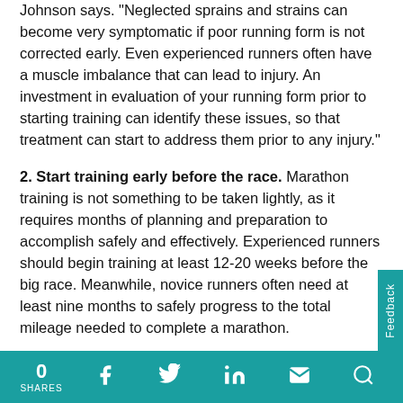Johnson says. "Neglected sprains and strains can become very symptomatic if poor running form is not corrected early. Even experienced runners often have a muscle imbalance that can lead to injury. An investment in evaluation of your running form prior to starting training can identify these issues, so that treatment can start to address them prior to any injury."
2. Start training early before the race. Marathon training is not something to be taken lightly, as it requires months of planning and preparation to accomplish safely and effectively. Experienced runners should begin training at least 12-20 weeks before the big race. Meanwhile, novice runners often need at least nine months to safely progress to the total mileage needed to complete a marathon.
“Be aware of the surfaces you are running on,” Dr. Johnson says. “In Birmingham, roads can have significant slopes (camber), and if you run the same way every time, this slope can lead to injures from the consistent uphill and downhill slopes of the road, giving
0 SHARES   f   [twitter]   in   [mail]   [search]   Feedback